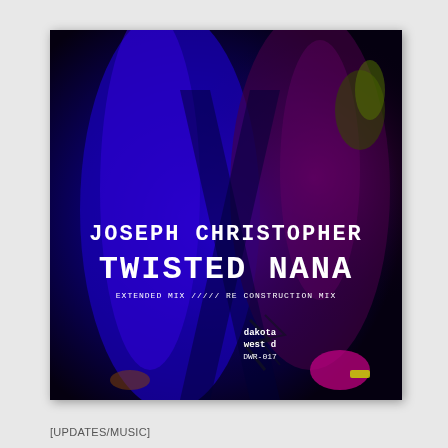[Figure (illustration): Album cover art for 'Twisted Nana' by Joseph Christopher on Dakota West Records (DWR-017). Dark background with blue and purple-lit hands crossing. White bold text reads 'JOSEPH CHRISTOPHER TWISTED NANA' with 'EXTENDED MIX ///// RE CONSTRUCTION MIX' below. Dakota West logo and catalog number DWR-017 at bottom center.]
[UPDATES/MUSIC]